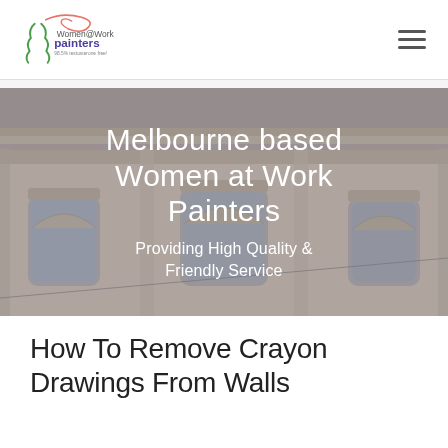[Figure (logo): Women@Work painters logo with abstract figure and swirls, tagline '98.5% testosterone free!']
[Figure (photo): Melbourne heritage building facade with ornate cream/beige stonework, arched windows, and decorative cornices]
Melbourne based Women at Work Painters
Providing High Quality & Friendly Service
How To Remove Crayon Drawings From Walls